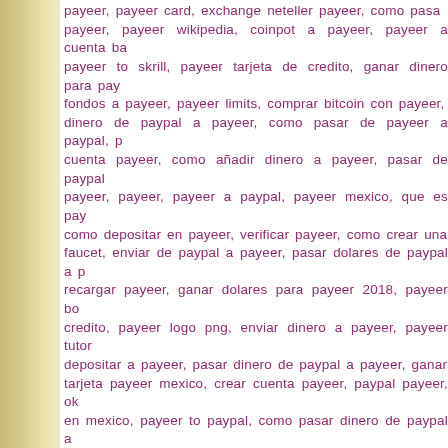payeer, payeer card, exchange neteller payeer, como pasar dinero a payeer, payeer wikipedia, coinpot a payeer, payeer a cuenta bancaria, payeer to skrill, payeer tarjeta de credito, ganar dinero para payeer, fondos a payeer, payeer limits, comprar bitcoin con payeer, dinero de paypal a payeer, como pasar de payeer a paypal, como crear cuenta payeer, como añadir dinero a payeer, pasar de paypal a payeer, payeer, payeer a paypal, payeer mexico, que es payeer, como depositar en payeer, verificar payeer, como crear una cuenta faucet, enviar de paypal a payeer, pasar dolares de paypal a payeer, recargar payeer, ganar dolares para payeer 2018, payeer bolsa de credito, payeer logo png, enviar dinero a payeer, payeer tutorial, depositar a payeer, pasar dinero de paypal a payeer, ganar tarjeta payeer mexico, crear cuenta payeer, paypal payeer, okpay en mexico, payeer to paypal, como pasar dinero de paypal a payeer, retirar dinero de payeer, como usar payeer, como funciona payeer, ganar dinero para payeer 2018, cuebta payeer, crear cuenta de payeer, payeer, enviar saldo de paypal a payeer, como hackear payeer, transferir de yandex mis rublos a payeer, gana rublos para payeer, payeer., payeer card, como transferir de yandex mis rublos a payeer, seguro payeer, payeer que es, payeer wallet, payeer tarjeta, payeer transferir dinero a payeer, como enviar dinero a payeer, abrir cuenta payeer, pàyeer, payeer vs paypal, payeer master card, faucet para payeer, pasar dinero de payeer a paypal, yandex payeer, depositar a payeer en mexico, payeer accepted countries, payeer, tarjeta payeer, payeer venezuela, ganar rublos para payeer